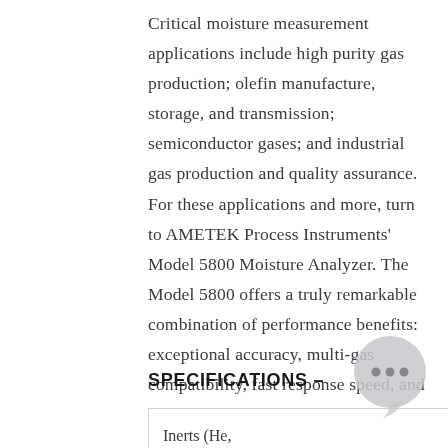Critical moisture measurement applications include high purity gas production; olefin manufacture, storage, and transmission; semiconductor gases; and industrial gas production and quality assurance. For these applications and more, turn to AMETEK Process Instruments' Model 5800 Moisture Analyzer. The Model 5800 offers a truly remarkable combination of performance benefits: exceptional accuracy, multi-gas compatibility, fast response speed, and wide measurement range.
SPECIFICATIONS –
| Inerts (He, Ar, Ne, Xe, |